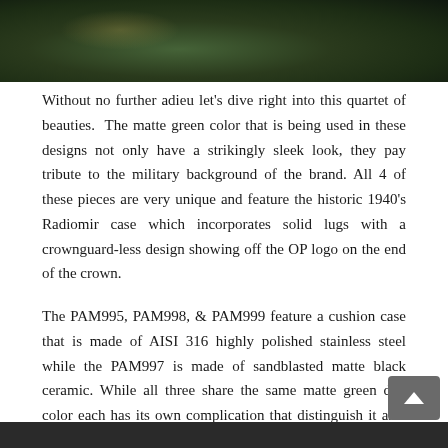[Figure (photo): Close-up photograph of a watch with dark green/black dial and gold accents, showing the upper portion of the watch face and case.]
Without no further adieu let's dive right into this quartet of beauties. The matte green color that is being used in these designs not only have a strikingly sleek look, they pay tribute to the military background of the brand. All 4 of these pieces are very unique and feature the historic 1940's Radiomir case which incorporates solid lugs with a crownguard-less design showing off the OP logo on the end of the crown.
The PAM995, PAM998, & PAM999 feature a cushion case that is made of AISI 316 highly polished stainless steel while the PAM997 is made of sandblasted matte black ceramic. While all three share the same matte green dial color each has its own complication that distinguish it as a unique piece all powered by 4 different in-house manufactured movements. Another item that they have in common is the use of a beautiful domed crystal that really accentuates the lines of the case perfectly and gives a perfect distortion to that matte green dial.